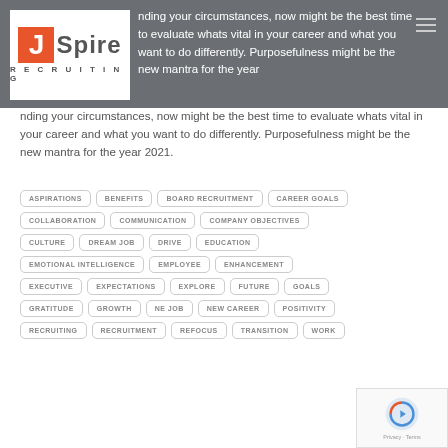JSpire Recruiting
nding your circumstances, now might be the best time to evaluate whats vital in your career and what you want to do differently. Purposefulness might be the new mantra for the year 2021.
ASPIRATIONS
BENEFITS
BOARD RECRUITMENT
CAREER GOALS
COLLABORATION
COMMUNICATION
COMPANY OBJECTIVES
CULTURE
DREAM JOB
DRIVE
EDUCATION
EMOTIONAL INTELLIGENCE
EMPLOYEE
ENHANCEMENT
EXECUTIVE
EXPECTATIONS
EXPLORE
FUTURE
GOALS
GRATITUDE
GROWTH
NE JOB
NEW CAREER
POSITIVITY
RECRUITING
RECRUITMENT
REFOCUS
TRANSITION
WORK